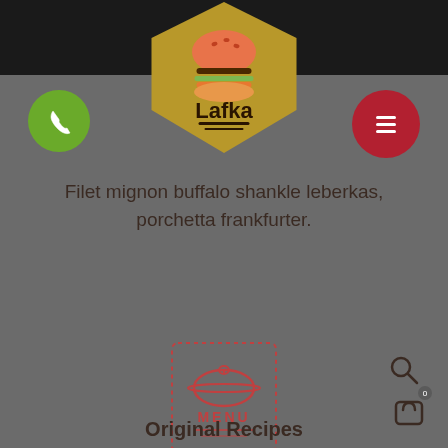[Figure (logo): Lafka burger restaurant logo — golden hexagonal badge with a burger icon and the text 'Lafka']
[Figure (other): Green circular phone/call button icon on the left]
[Figure (other): Red circular hamburger menu button icon on the right]
Filet mignon buffalo shankle leberkas, porchetta frankfurter.
[Figure (illustration): Menu book icon with serving cloche/dome and text 'MENU' inside a dotted-border rectangle]
[Figure (other): Search (magnifying glass) icon]
[Figure (other): Shopping bag/cart icon with badge showing '0']
Original Recipes